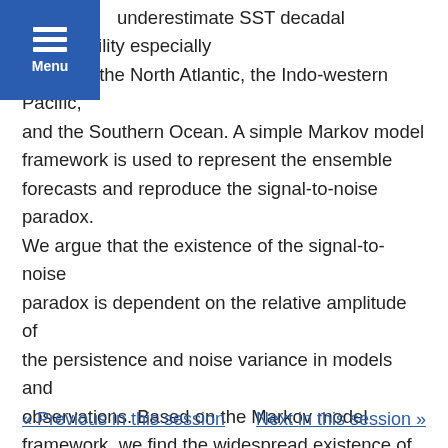underestimate SST decadal predictability especially in part of the North Atlantic, the Indo-western Pacific, and the Southern Ocean. A simple Markov model framework is used to represent the ensemble forecasts and reproduce the signal-to-noise paradox. We argue that the existence of the signal-to-noise paradox is dependent on the relative amplitude of the persistence and noise variance in models and observations. Based on the Markov model framework, we find the widespread existence of the signal-to-noise paradox in CMIP5 models, and the regions with the signal-to-noise paradox are very likely to underestimate SST decadal predictability.
« Previous in this session
Next in this session »